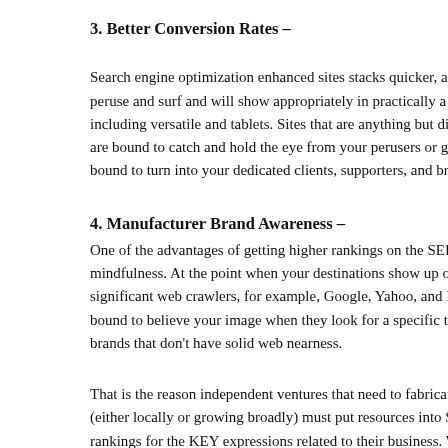3. Better Conversion Rates –
Search engine optimization enhanced sites stacks quicker, are a peruse and surf and will show appropriately in practically a wide including versatile and tablets. Sites that are anything but difficu are bound to catch and hold the eye from your perusers or gue bound to turn into your dedicated clients, supporters, and bring
4. Manufacturer Brand Awareness –
One of the advantages of getting higher rankings on the SERPs mindfulness. At the point when your destinations show up on th significant web crawlers, for example, Google, Yahoo, and Bing bound to believe your image when they look for a specific term brands that don't have solid web nearness.
That is the reason independent ventures that need to fabricate (either locally or growing broadly) must put resources into SEO rankings for the KEY expressions related to their business. We'r longer; web crawlers currently assume a noteworthy job in mar moment your image.
5. Claiming Credibility –